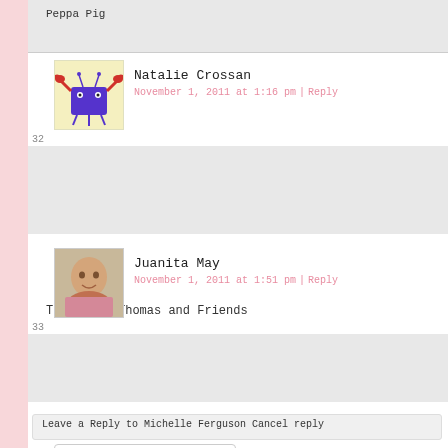Peppa Pig
Natalie Crossan
November 1, 2011 at 1:16 pm | Reply
32
Toby from Thomas and Friends
[Figure (illustration): Avatar of a cartoon crab-like purple character with claws on a yellow background]
[Figure (photo): Avatar photo of Juanita May]
Juanita May
November 1, 2011 at 1:51 pm | Reply
33
Peppa Pig is a favorite here
Leave a Reply to Michelle Ferguson Cancel reply
Your Comment